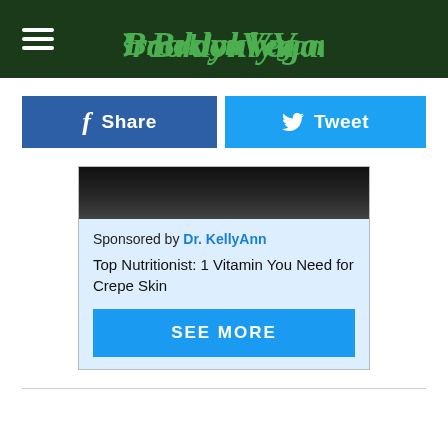BrooklynVegan
[Figure (other): Share and Tweet social media buttons row with Facebook Share button (blue) and Twitter Tweet button (light blue)]
[Figure (other): Sponsored advertisement card by Dr. KellyAnn with dark image at top, text 'Sponsored by Dr. KellyAnn', 'Top Nutritionist: 1 Vitamin You Need for Crepe Skin', and a blue SEE MORE button]